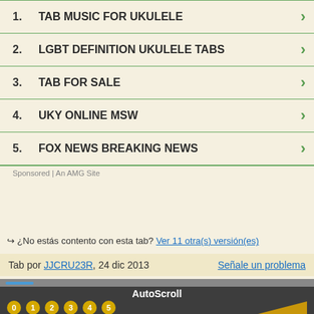1. TAB MUSIC FOR UKULELE
2. LGBT DEFINITION UKULELE TABS
3. TAB FOR SALE
4. UKY ONLINE MSW
5. FOX NEWS BREAKING NEWS
Sponsored | An AMG Site
→ ¿No estás contento con esta tab? Ver 11 otra(s) versión(es)
Tab por JJCRU23R, 24 dic 2013   Señale un problema
AutoScroll
0 1 2 3 4 5